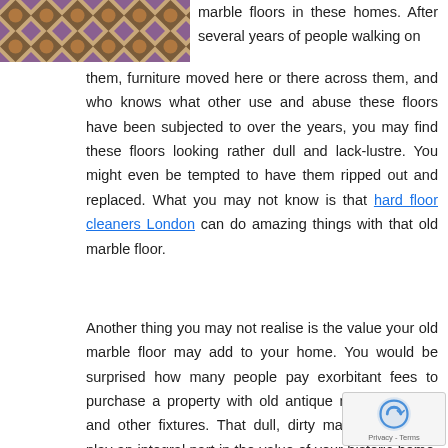[Figure (photo): Decorative marble or tile floor pattern with geometric shapes in brown, tan, and purple tones]
marble floors in these homes. After several years of people walking on them, furniture moved here or there across them, and who knows what other use and abuse these floors have been subjected to over the years, you may find these floors looking rather dull and lack-lustre. You might even be tempted to have them ripped out and replaced. What you may not know is that hard floor cleaners London can do amazing things with that old marble floor.
Another thing you may not realise is the value your old marble floor may add to your home. You would be surprised how many people pay exorbitant fees to purchase a property with old antique marble flooring and other fixtures. That dull, dirty marble floor may play an integral part in the value of your historic home. Not only is it more feasible to hire a hard cleaning company in London, but it can very well save yo loss of value for your home by reconditioning the hi